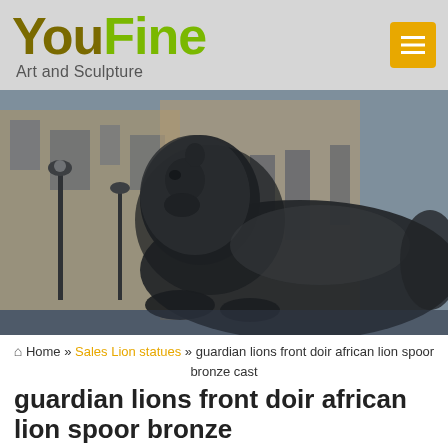YouFine Art and Sculpture
[Figure (photo): A large bronze lion sculpture resting on a plinth at Trafalgar Square, London, with ornate stone buildings and lamp posts in the background. The lion faces right with its mane flowing, photographed in an HDR style with vivid contrast.]
Home » Sales Lion statues » guardian lions front doir african lion spoor bronze cast
guardian lions front doir african lion spoor bronze